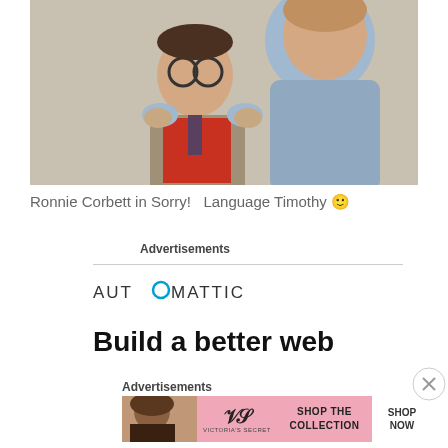[Figure (photo): Two people in a scene: a shorter man with round glasses wearing a red knit sweater and tweed jacket with a polka dot tie, and a taller person in a light blue sweater placing hands on the shorter man's shoulders. Scene appears to be from a TV show.]
Ronnie Corbett in Sorry!   Language Timothy 🙂
Advertisements
[Figure (logo): Automattic logo with stylized letter O in teal/blue circle]
Build a better web
Advertisements
[Figure (infographic): Victoria's Secret banner advertisement with woman photo on left, VS logo in center, 'SHOP THE COLLECTION' text, and 'SHOP NOW' button on right, pink background]